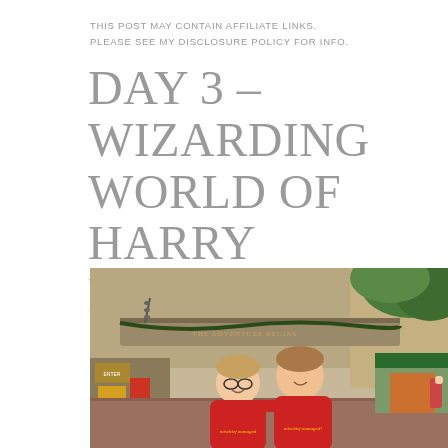THIS POST MAY CONTAIN AFFILIATE LINKS. PLEASE SEE MY DISCLOSURE POLICY FOR INFO.
DAY 3 – WIZARDING WORLD OF HARRY POTTER, PART 2
[Figure (photo): Two boys wearing matching red 'Mischief Managed' t-shirts standing in front of the entrance archway to the Wizarding World of Harry Potter at Universal Studios. The archway reads 'The Adventure Begins'. Palm trees and themed buildings are visible in the background.]